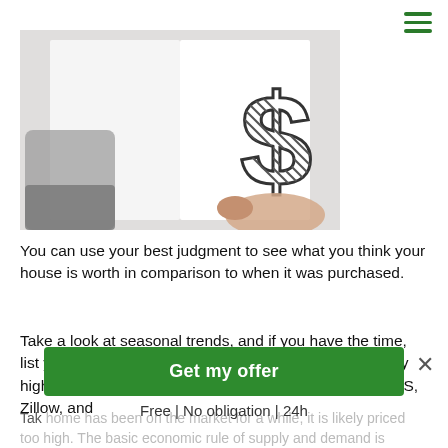[Figure (photo): A hand holding open a white book/notebook showing a large hand-drawn dollar sign ($) symbol with cross-hatching.]
You can use your best judgment to see what you think your house is worth in comparison to when it was purchased.
Take a look at seasonal trends, and if you have the time, list your house at a time of year when prices are typically higher. Look up homes that are actively listed on the MLS, Zillow, and
Tak home has been on the market for a while, it is likely priced too high. The basic economic rule of supply and demand is
Get my offer
Free | No obligation | 24h